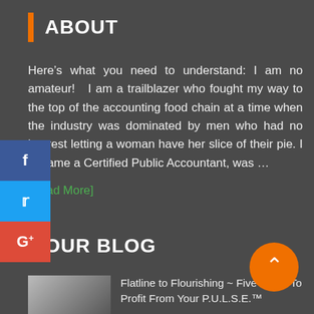ABOUT
Here’s what you need to understand: I am no amateur! I am a trailblazer who fought my way to the top of the accounting food chain at a time when the industry was dominated by men who had no interest letting a woman have her slice of their pie. I became a Certified Public Accountant, was …
[Read More]
OUR BLOG
Flatline to Flourishing ~ Five Steps To Profit From Your P.U.L.S.E.™